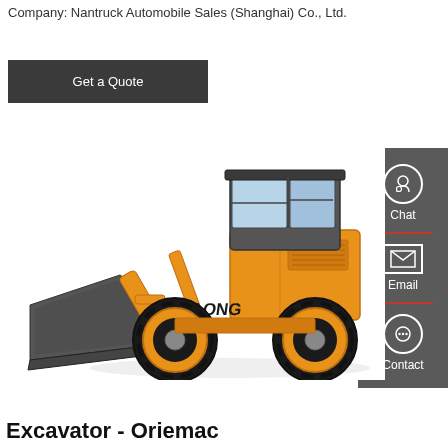Company: Nantruck Automobile Sales (Shanghai) Co., Ltd.
Get a Quote
[Figure (photo): Yellow wheel loader / front-end loader with 'NAONG' branding on the side, featuring a large grey bucket attachment, black tyres, and enclosed cab, shown on white background.]
Excavator - Oriemac